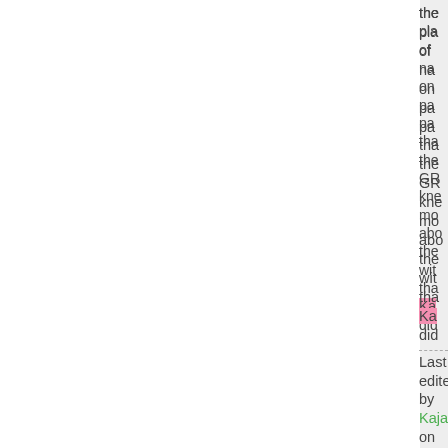the pla of na on pa pa tha the GR kne mo abo the wit tha Ka did
Last edited by Kajal on Thu Feb 17